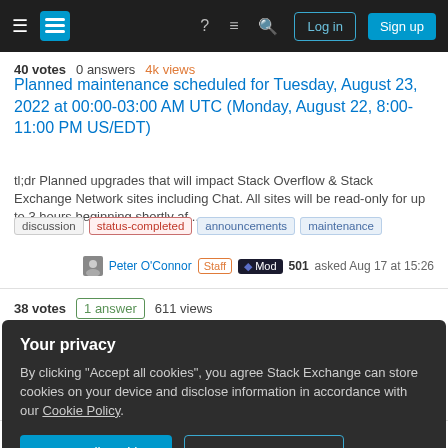Stack Exchange navigation bar with Log in and Sign up buttons
40 votes  0 answers  4k views
Planned maintenance scheduled for Tuesday, August 23, 2022 at 00:00-03:00 AM UTC (Monday, August 22, 8:00-11:00 PM US/EDT)
tl;dr Planned upgrades that will impact Stack Overflow & Stack Exchange Network sites including Chat. All sites will be read-only for up to 3 hours beginning shortly af...
discussion
status-completed
announcements
maintenance
Peter O'Connor Staff Mod 501 asked Aug 17 at 15:26
38 votes  1 answer  611 views
Dogfooding and Jobs - what's with SE using an external jobs
Your privacy
By clicking "Accept all cookies", you agree Stack Exchange can store cookies on your device and disclose information in accordance with our Cookie Policy.
Accept all cookies
Customize settings
26 votes  0 answers  317 views